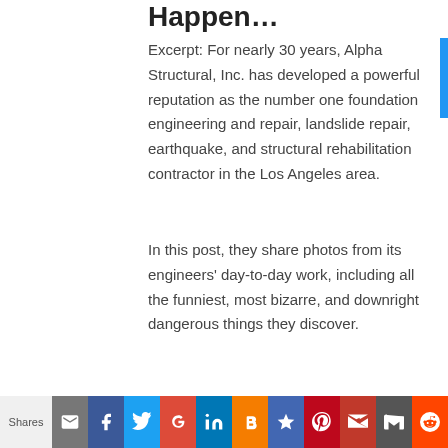Happen…
Excerpt: For nearly 30 years, Alpha Structural, Inc. has developed a powerful reputation as the number one foundation engineering and repair, landslide repair, earthquake, and structural rehabilitation contractor in the Los Angeles area.
In this post, they share photos from its engineers' day-to-day work, including all the funniest, most bizarre, and downright dangerous things they discover.
Shares | Email | Facebook | Twitter | Google+ | LinkedIn | Blogger | Bookmark | Pinterest | Outlook | Gmail | Reddit